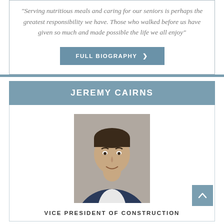"Serving nutritious meals and caring for our seniors is perhaps the greatest responsibility we have. Those who walked before us have given so much and made possible the life we all enjoy"
FULL BIOGRAPHY >
JEREMY CAIRNS
[Figure (photo): Headshot of Jeremy Cairns, a man in a dark suit jacket and white shirt, smiling, against a grey background.]
VICE PRESIDENT OF CONSTRUCTION